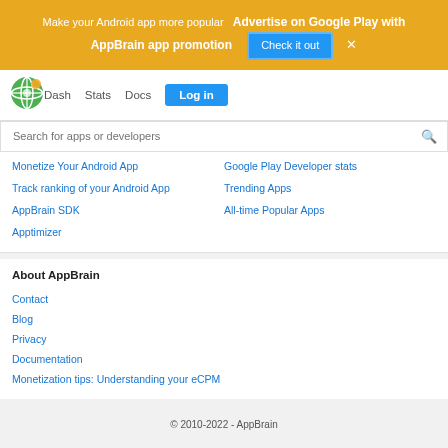Make your Android app more popular  Advertise on Google Play with AppBrain app promotion  Check it out  ×
[Figure (logo): AppBrain globe logo]
Dash  Stats  Docs  Log in
Search for apps or developers
Monetize Your Android App
Google Play Developer stats
Track ranking of your Android App
Trending Apps
AppBrain SDK
All-time Popular Apps
Apptimizer
About AppBrain
Contact
Blog
Privacy
Documentation
Monetization tips: Understanding your eCPM
© 2010-2022 - AppBrain